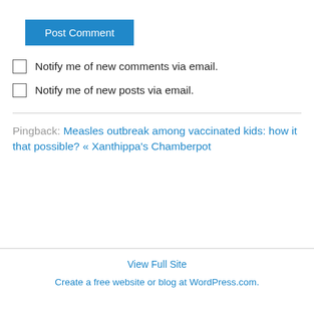Post Comment
Notify me of new comments via email.
Notify me of new posts via email.
Pingback: Measles outbreak among vaccinated kids: how it that possible? « Xanthippa’s Chamberpot
View Full Site
Create a free website or blog at WordPress.com.